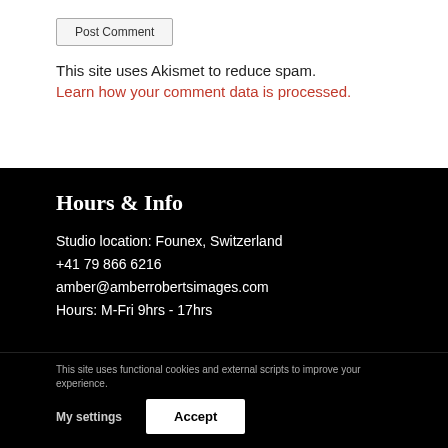Post Comment
This site uses Akismet to reduce spam. Learn how your comment data is processed.
Hours & Info
Studio location: Founex, Switzerland
+41 79 866 6216
amber@amberrobertsimages.com
Hours: M-Fri 9hrs - 17hrs
This site uses functional cookies and external scripts to improve your experience.
My settings  Accept